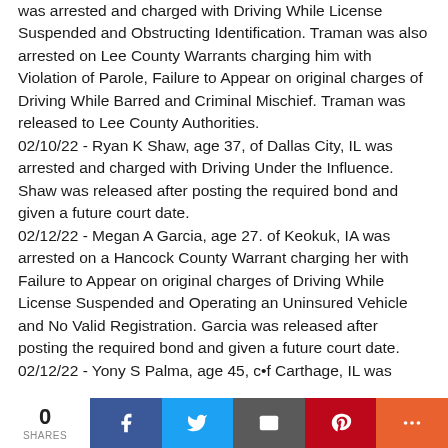was arrested and charged with Driving While License Suspended and Obstructing Identification. Traman was also arrested on Lee County Warrants charging him with Violation of Parole, Failure to Appear on original charges of Driving While Barred and Criminal Mischief. Traman was released to Lee County Authorities. 02/10/22 - Ryan K Shaw, age 37, of Dallas City, IL was arrested and charged with Driving Under the Influence. Shaw was released after posting the required bond and given a future court date. 02/12/22 - Megan A Garcia, age 27. of Keokuk, IA was arrested on a Hancock County Warrant charging her with Failure to Appear on original charges of Driving While License Suspended and Operating an Uninsured Vehicle and No Valid Registration. Garcia was released after posting the required bond and given a future court date. 02/12/22 - Yony S Palma, age 45, c•f Carthage, IL was
[Figure (other): Social share bar with 0 shares count, Facebook, Twitter, Email, Pinterest, and More buttons]